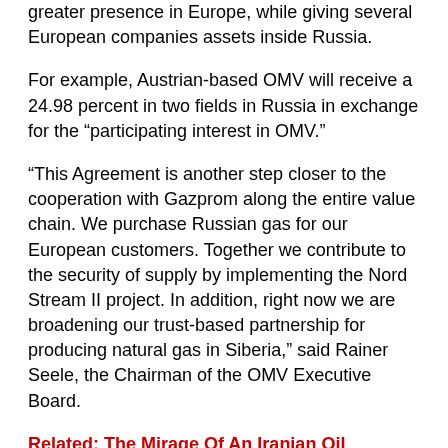greater presence in Europe, while giving several European companies assets inside Russia.
For example, Austrian-based OMV will receive a 24.98 percent in two fields in Russia in exchange for the “participating interest in OMV.”
“This Agreement is another step closer to the cooperation with Gazprom along the entire value chain. We purchase Russian gas for our European customers. Together we contribute to the security of supply by implementing the Nord Stream II project. In addition, right now we are broadening our trust-based partnership for producing natural gas in Siberia,” said Rainer Seele, the Chairman of the OMV Executive Board.
Related: The Mirage Of An Iranian Oil Bonanza
Gazprom also announced asset swaps with BASF, a deal that had first been announced in 2013 but was put on ice